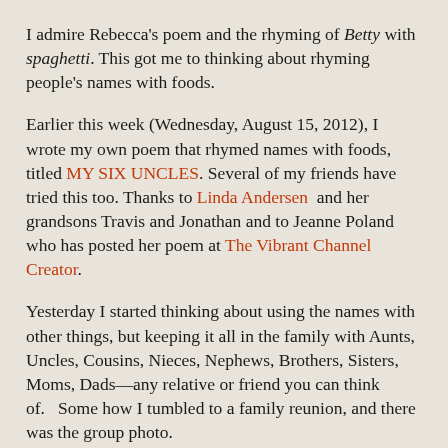I admire Rebecca's poem and the rhyming of Betty with spaghetti. This got me to thinking about rhyming people's names with foods.
Earlier this week (Wednesday, August 15, 2012), I wrote my own poem that rhymed names with foods, titled MY SIX UNCLES. Several of my friends have tried this too. Thanks to Linda Andersen and her grandsons Travis and Jonathan and to Jeanne Poland who has posted her poem at The Vibrant Channel Creator.
Yesterday I started thinking about using the names with other things, but keeping it all in the family with Aunts, Uncles, Cousins, Nieces, Nephews, Brothers, Sisters, Moms, Dads—any relative or friend you can think of.   Some how I tumbled to a family reunion, and there was the group photo.
FAMILY REUNION PHOTO
See Uncle Matt?
He's wearing a hat.
That's cousin Lance